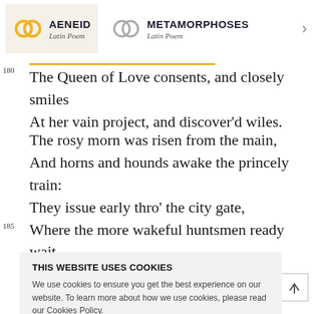AENEID Latin Poem | METAMORPHOSES Latin Poem
180 The Queen of Love consents, and closely smiles
At her vain project, and discover'd wiles.
The rosy morn was risen from the main,
And horns and hounds awake the princely train:
They issue early thro' the city gate,
185 Where the more wakeful huntsmen ready wait,
THIS WEBSITE USES COOKIES
We use cookies to ensure you get the best experience on our website. To learn more about how we use cookies, please read our Cookies Policy.
ACCEPT
190 Proud of his purple trappings, paws the ground,